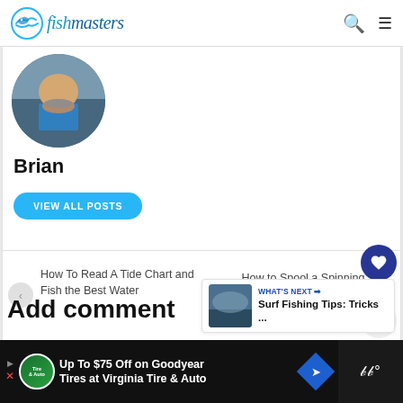fishmasters
[Figure (photo): Circular profile photo of Brian holding a fish on a boat]
Brian
VIEW ALL POSTS
How To Read A Tide Chart and Fish the Best Water
How to Spool a Spinning Reel
1
WHAT'S NEXT → Surf Fishing Tips: Tricks ...
Add comment
Up To $75 Off on Goodyear Tires at Virginia Tire & Auto